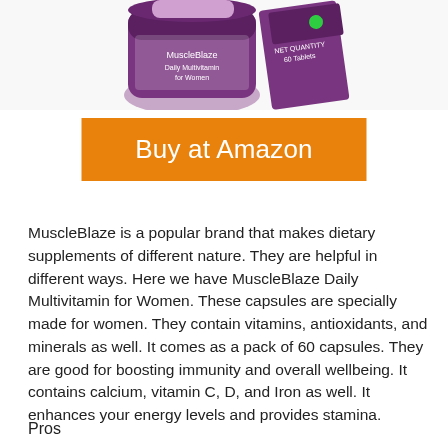[Figure (photo): Product photo of MuscleBlaze Daily Multivitamin for Women supplement bottle and box, purple packaging, partially cropped at top of page]
Buy at Amazon
MuscleBlaze is a popular brand that makes dietary supplements of different nature. They are helpful in different ways. Here we have MuscleBlaze Daily Multivitamin for Women. These capsules are specially made for women. They contain vitamins, antioxidants, and minerals as well. It comes as a pack of 60 capsules. They are good for boosting immunity and overall wellbeing. It contains calcium, vitamin C, D, and Iron as well. It enhances your energy levels and provides stamina.
Pros